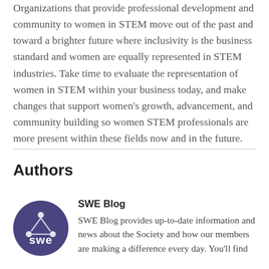Organizations that provide professional development and community to women in STEM move out of the past and toward a brighter future where inclusivity is the business standard and women are equally represented in STEM industries. Take time to evaluate the representation of women in STEM within your business today, and make changes that support women's growth, advancement, and community building so women STEM professionals are more present within these fields now and in the future.
Authors
[Figure (logo): SWE (Society of Women Engineers) circular logo in dark purple/indigo with molecule/atom icon and 'swe' text in white]
SWE Blog
SWE Blog provides up-to-date information and news about the Society and how our members are making a difference every day. You'll find